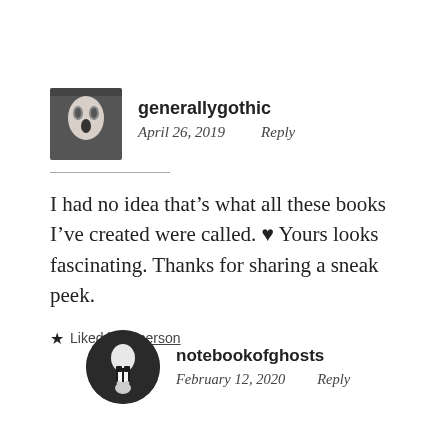[Figure (photo): Avatar photo of user generallygothic — a pale face with dark eye makeup]
generallygothic
April 26, 2019    Reply
I had no idea that’s what all these books I’ve created were called. ♥ Yours looks fascinating. Thanks for sharing a sneak peek.
★ Liked by 1 person
[Figure (photo): Avatar photo of user notebookofghosts — a ghost-like figure in tuxedo]
notebookofghosts
February 12, 2020    Reply